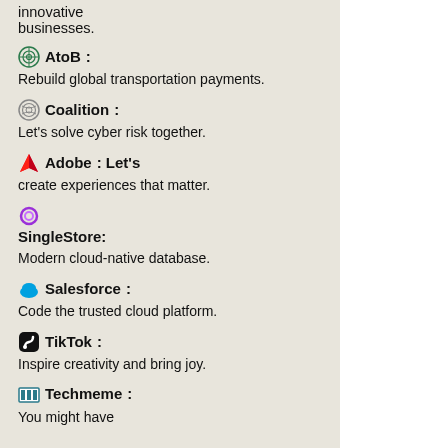innovative businesses.
AtoB: Rebuild global transportation payments.
Coalition: Let's solve cyber risk together.
Adobe: Let's create experiences that matter.
SingleStore: Modern cloud-native database.
Salesforce: Code the trusted cloud platform.
TikTok: Inspire creativity and bring joy.
Techmeme: You might have